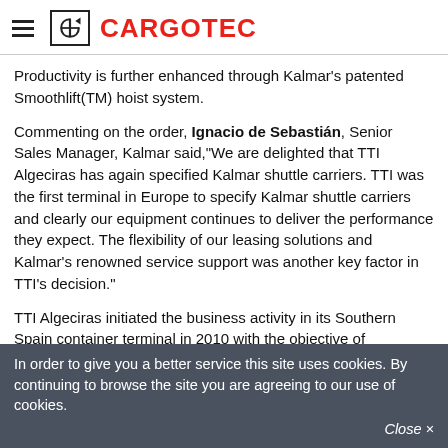CARGOTEC
Productivity is further enhanced through Kalmar's patented Smoothlift(TM) hoist system.
Commenting on the order, Ignacio de Sebastián, Senior Sales Manager, Kalmar said,"We are delighted that TTI Algeciras has again specified Kalmar shuttle carriers. TTI was the first terminal in Europe to specify Kalmar shuttle carriers and clearly our equipment continues to deliver the performance they expect. The flexibility of our leasing solutions and Kalmar's renowned service support was another key factor in TTI's decision."
TTI Algeciras initiated the business activity in its Southern Spain container terminal in 2010 with the objective of progressively handling up to 1.8 million TEUs (twenty-foot standard containers) per year. The terminal surpassed the 1 million TEU landmark in 2012 and is expected to achieve the same in 2013. TTI Algeciras is capable of handling the latest and future generations of ultra
In order to give you a better service this site uses cookies. By continuing to browse the site you are agreeing to our use of cookies.   Close ×